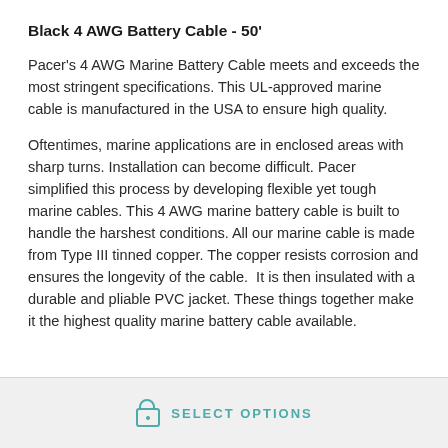Black 4 AWG Battery Cable - 50'
Pacer's 4 AWG Marine Battery Cable meets and exceeds the most stringent specifications. This UL-approved marine cable is manufactured in the USA to ensure high quality.
Oftentimes, marine applications are in enclosed areas with sharp turns. Installation can become difficult. Pacer simplified this process by developing flexible yet tough marine cables. This 4 AWG marine battery cable is built to handle the harshest conditions. All our marine cable is made from Type III tinned copper. The copper resists corrosion and ensures the longevity of the cable.  It is then insulated with a durable and pliable PVC jacket. These things together make it the highest quality marine battery cable available.
SELECT OPTIONS